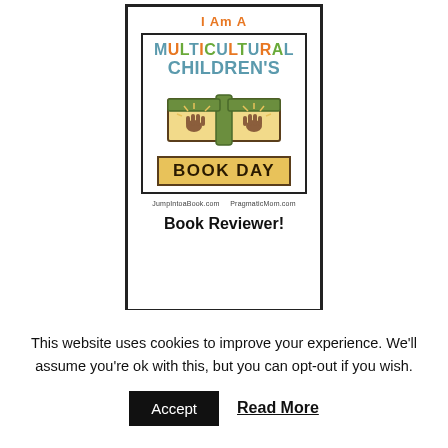[Figure (logo): Badge reading 'I Am A Multicultural Children's Book Day Book Reviewer!' with an open book illustration showing two handprints, sponsored by JumpIntoaBook.com and PragmaticMom.com]
This website uses cookies to improve your experience. We'll assume you're ok with this, but you can opt-out if you wish.
Accept   Read More